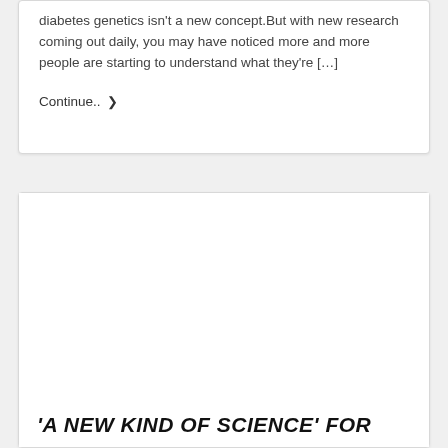diabetes genetics isn't a new concept.But with new research coming out daily, you may have noticed more and more people are starting to understand what they're […]
Continue.. ❯
[Figure (photo): White/blank image placeholder area inside a card]
'A NEW KIND OF SCIENCE' FOR